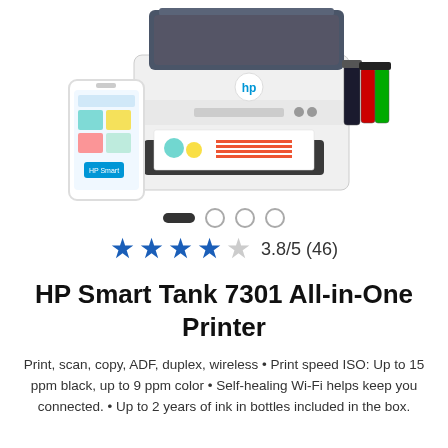[Figure (photo): HP Smart Tank 7301 All-in-One Printer shown with a smartphone displaying the HP Smart app. The printer is white and dark grey, with ink tanks visible on the right side and a printed color page in the output tray.]
HP Smart Tank 7301 All-in-One Printer
Print, scan, copy, ADF, duplex, wireless • Print speed ISO: Up to 15 ppm black, up to 9 ppm color • Self-healing Wi-Fi helps keep you connected. • Up to 2 years of ink in bottles included in the box.